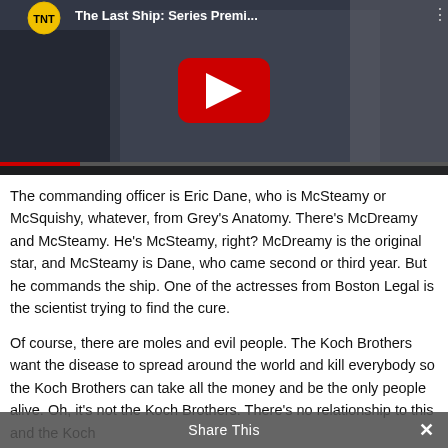[Figure (screenshot): YouTube video thumbnail showing a man in a military/naval uniform standing on a ship. TNT logo visible in top left. Title reads 'The Last Ship: Series Premi...' with a red YouTube play button overlay in the center.]
The commanding officer is Eric Dane, who is McSteamy or McSquishy, whatever, from Grey's Anatomy. There's McDreamy and McSteamy. He's McSteamy, right? McDreamy is the original star, and McSteamy is Dane, who came second or third year. But he commands the ship. One of the actresses from Boston Legal is the scientist trying to find the cure.
Of course, there are moles and evil people. The Koch Brothers want the disease to spread around the world and kill everybody so the Koch Brothers can take all the money and be the only people alive. Oh, it's not the Koch Brothers. There's no relationship to this and the Koch
Share This ✕